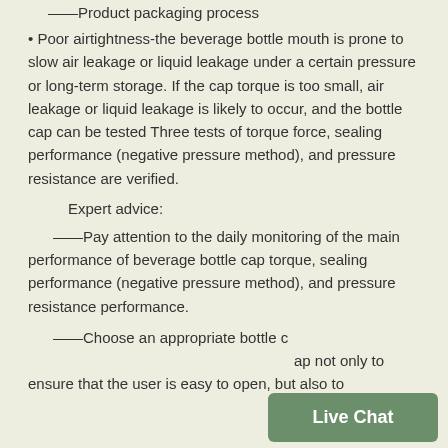——Product packaging process
• Poor airtightness-the beverage bottle mouth is prone to slow air leakage or liquid leakage under a certain pressure or long-term storage. If the cap torque is too small, air leakage or liquid leakage is likely to occur, and the bottle cap can be tested Three tests of torque force, sealing performance (negative pressure method), and pressure resistance are verified.
Expert advice:
——Pay attention to the daily monitoring of the main performance of beverage bottle cap torque, sealing performance (negative pressure method), and pressure resistance performance.
——Choose an appropriate bottle cap not only to ensure that the user is easy to open, but also to